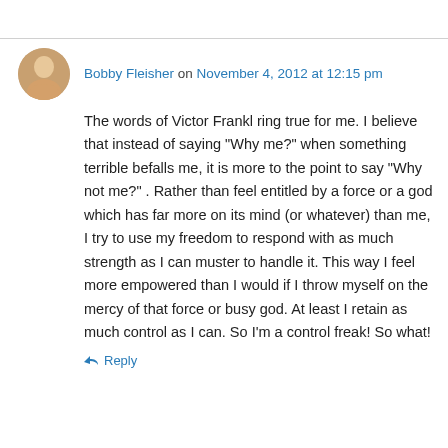Bobby Fleisher on November 4, 2012 at 12:15 pm
The words of Victor Frankl ring true for me. I believe that instead of saying “Why me?” when something terrible befalls me, it is more to the point to say “Why not me?” . Rather than feel entitled by a force or a god which has far more on its mind (or whatever) than me, I try to use my freedom to respond with as much strength as I can muster to handle it. This way I feel more empowered than I would if I throw myself on the mercy of that force or busy god. At least I retain as much control as I can. So I’m a control freak! So what!
Reply